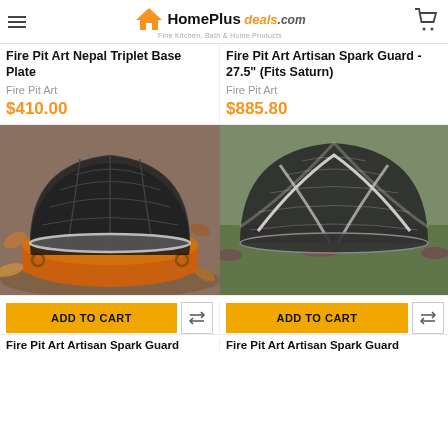HomePlus deals .com — Fine Kitchen, Bath & Home Products
Fire Pit Art Nepal Triplet Base Plate
Fire Pit Art
$410.00
Fire Pit Art Artisan Spark Guard - 27.5" (Fits Saturn)
Fire Pit Art
$885.80
[Figure (photo): Dome-shaped black mesh spark guard sitting on top of an orange fire pit bowl with metal rings, surrounded by autumn leaves]
[Figure (photo): Dome-shaped dark mesh spark guard with silver cross-bar straps sitting on ground surrounded by low plants]
ADD TO CART
ADD TO CART
Fire Pit Art Artisan Spark Guard
Fire Pit Art Artisan Spark Guard